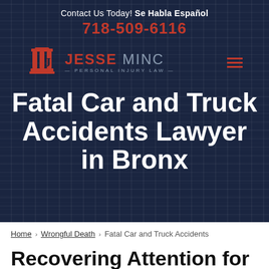Contact Us Today! Se Habla Español
718-509-6116
[Figure (logo): Jesse Minc Personal Injury Law logo with red pillar icon, red JESSE text, grey MINC text, and tagline PERSONAL INJURY LAW, with red hamburger menu icon on the right]
Fatal Car and Truck Accidents Lawyer in Bronx
Home > Wrongful Death > Fatal Car and Truck Accidents
Recovering Attention for